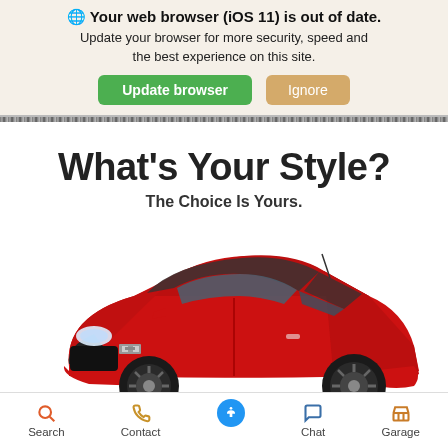🌐 Your web browser (iOS 11) is out of date. Update your browser for more security, speed and the best experience on this site.
Update browser | Ignore
What's Your Style?
The Choice Is Yours.
[Figure (photo): Red Chevrolet Sonic hatchback car photographed from front-left angle on white background]
Search | Contact | (accessibility) | Chat | Garage